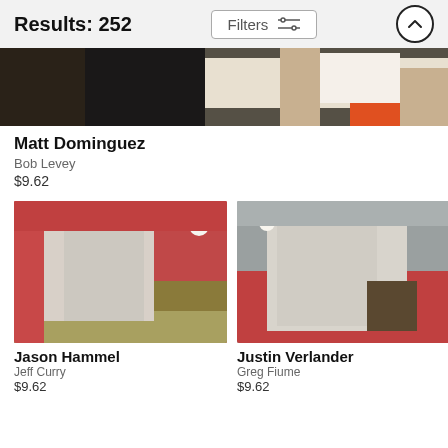Results: 252
[Figure (photo): Cropped sports photo showing partial view of a baseball player in white uniform, top portion of body visible]
Matt Dominguez
Bob Levey
$9.62
[Figure (photo): Jason Hammel pitching, wearing blue Cubs uniform, mid-throw on the mound]
Jason Hammel
Jeff Curry
$9.62
[Figure (photo): Justin Verlander pitching, wearing grey Detroit Tigers uniform, mid-throw]
Justin Verlander
Greg Fiume
$9.62